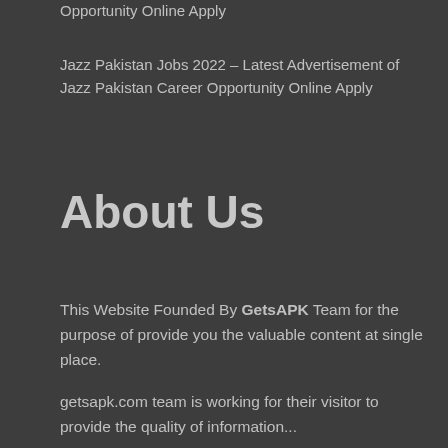Opportunity Online Apply
Jazz Pakistan Jobs 2022 – Latest Advertisement of Jazz Pakistan Career Opportunity Online Apply
About Us
This Website Founded By GetsAPK Team for the purpose of provide you the valuable content at single place.
getsapk.com team is working for their visitor to provide the quality of information...